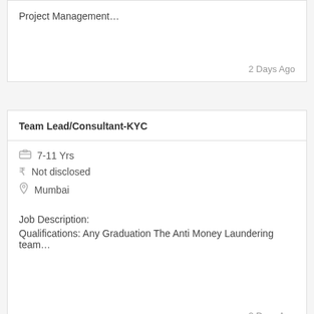Project Management…
2 Days Ago
Team Lead/Consultant-KYC
7-11 Yrs
Not disclosed
Mumbai
Job Description:
Qualifications: Any Graduation The Anti Money Laundering team…
2 Days Ago